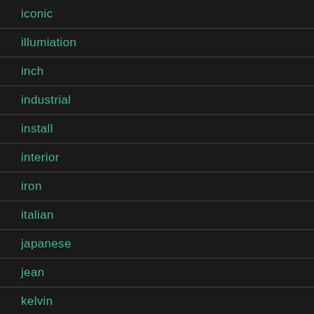iconic
illumiation
inch
industrial
install
interior
iron
italian
japanese
jean
kelvin